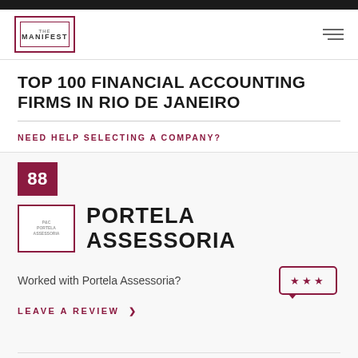THE MANIFEST
TOP 100 FINANCIAL ACCOUNTING FIRMS IN RIO DE JANEIRO
NEED HELP SELECTING A COMPANY?
88
PORTELA ASSESSORIA
Worked with Portela Assessoria?
LEAVE A REVIEW >
Undisclosed
2 - 9 employees